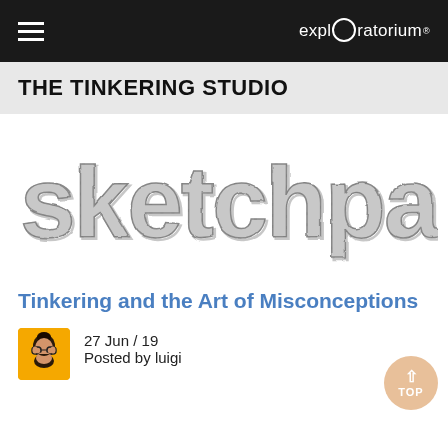≡  exploratorium®
THE TINKERING STUDIO
[Figure (illustration): Hand-drawn sketch-style lettering spelling 'sketchpad' in large grey block letters with pencil/sketch outlines on white background]
Tinkering and the Art of Misconceptions
27 Jun / 19
Posted by luigi